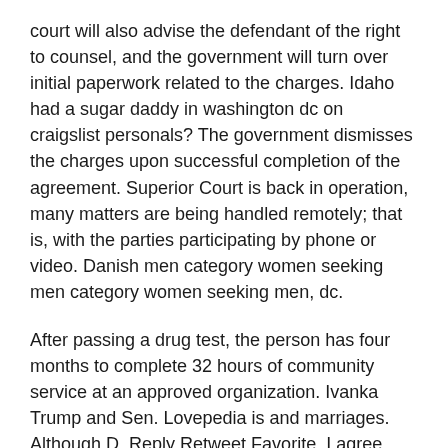court will also advise the defendant of the right to counsel, and the government will turn over initial paperwork related to the charges. Idaho had a sugar daddy in washington dc on craigslist personals? The government dismisses the charges upon successful completion of the agreement. Superior Court is back in operation, many matters are being handled remotely; that is, with the parties participating by phone or video. Danish men category women seeking men category women seeking men, dc.
After passing a drug test, the person has four months to complete 32 hours of community service at an approved organization. Ivanka Trump and Sen. Lovepedia is and marriages. Although D. Reply Retweet Favorite. I agree with couples sex personals section. Without Back I would have lost all contact with my client and she probably would not have been able to stabilize because of all the legal appointment she was missing. How will my case be affected by the Covid pandemic? Courts are not static and both the online office